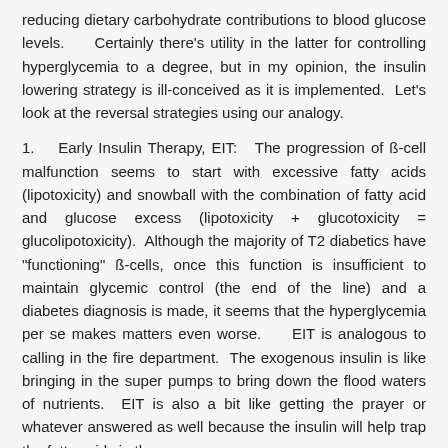reducing dietary carbohydrate contributions to blood glucose levels.    Certainly there's utility in the latter for controlling hyperglycemia to a degree, but in my opinion, the insulin lowering strategy is ill-conceived as it is implemented.  Let's look at the reversal strategies using our analogy.
1.   Early Insulin Therapy, EIT:  The progression of ß-cell malfunction seems to start with excessive fatty acids (lipotoxicity) and snowball with the combination of fatty acid and glucose excess (lipotoxicity + glucotoxicity = glucolipotoxicity).  Although the majority of T2 diabetics have "functioning" ß-cells, once this function is insufficient to maintain glycemic control (the end of the line) and a diabetes diagnosis is made, it seems that the hyperglycemia per se makes matters even worse.    EIT is analogous to calling in the fire department.  The exogenous insulin is like bringing in the super pumps to bring down the flood waters of nutrients.  EIT is also a bit like getting the prayer or whatever answered as well because the insulin will help trap the fatty acids in the